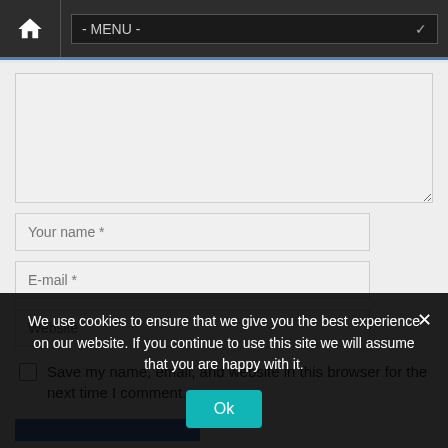[Figure (screenshot): Navigation bar with home icon and MENU dropdown]
[Figure (screenshot): Comment form with textarea, name, email, website fields, checkbox, and submit button]
We use cookies to ensure that we give you the best experience on our website. If you continue to use this site we will assume that you are happy with it.